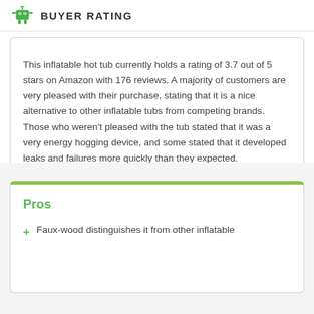BUYER RATING
This inflatable hot tub currently holds a rating of 3.7 out of 5 stars on Amazon with 176 reviews. A majority of customers are very pleased with their purchase, stating that it is a nice alternative to other inflatable tubs from competing brands. Those who weren't pleased with the tub stated that it was a very energy hogging device, and some stated that it developed leaks and failures more quickly than they expected.
Pros
Faux-wood distinguishes it from other inflatable models